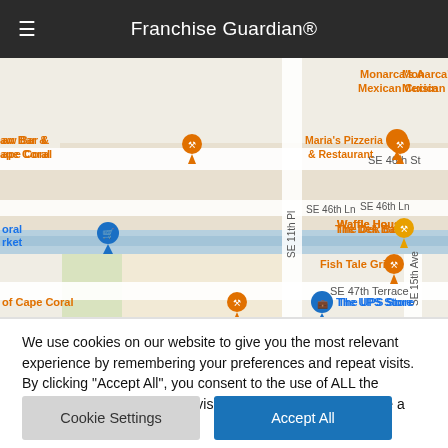Franchise Guardian®
[Figure (map): Google Maps screenshot showing area near SE 46th St and SE 47th Terrace in Cape Coral, with restaurant pins (Maria's Pizzeria & Restaurant, Fish Tale Grill, The Dek Bar, Waffle House, Monarca's Mexican Cuisine) and The UPS Store marker]
We use cookies on our website to give you the most relevant experience by remembering your preferences and repeat visits. By clicking "Accept All", you consent to the use of ALL the cookies. However, you may visit 'Cookie Settings' to provide a controlled consent.